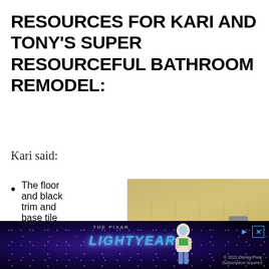RESOURCES FOR KARI AND TONY'S SUPER RESOURCEFUL BATHROOM REMODEL:
Kari said:
The floor and black trim and base tile was purchased a...
[Figure (photo): Bathroom shower interior with yellow/cream tiles, dark horizontal trim line near top, shower head visible, niche inset, window with bright light on right side]
[Figure (screenshot): Advertisement banner for Disney/Pixar Lightyear movie showing Buzz Lightyear character against space background with the Lightyear logo]